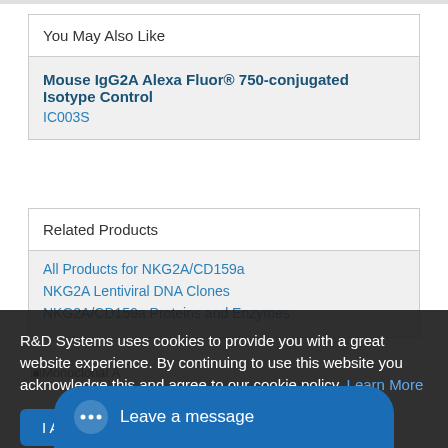You May Also Like
Mouse IgG2A Alexa Fluor® 750-conjugated Isotype Control IC003S
Related Products
All Products for NKG2A/CD159a
NKG2A Lentiviral DNA Clones
NKG2A/CD159a Proteins and Enzymes
R&D Systems uses cookies to provide you with a great website experience. By continuing to use this website you acknowledge this and agree to our cookie policy. Learn More
I Agree
Leave a message
Monoclonal A...